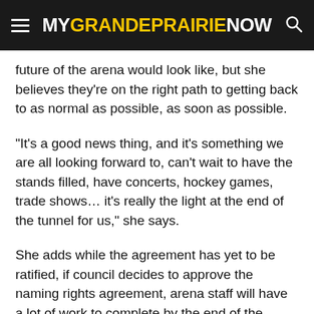MYGRANDEPRAIRIE NOW
future of the arena would look like, but she believes they're on the right path to getting back to as normal as possible, as soon as possible.
“It’s a good news thing, and it’s something we are all looking forward to, can’t wait to have the stands filled, have concerts, hockey games, trade shows… it’s really the light at the end of the tunnel for us,” she says.
She adds while the agreement has yet to be ratified, if council decides to approve the naming rights agreement, arena staff will have a lot of work to complete by the end of the month.
“As soon as council signs that agreement, we are working on getting the signage in order, and the website changed out…